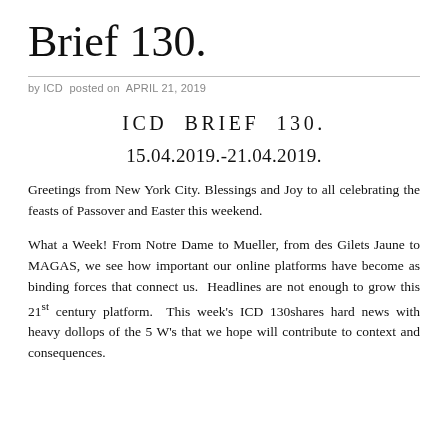Brief 130.
by ICD posted on APRIL 21, 2019
ICD BRIEF 130.
15.04.2019.-21.04.2019.
Greetings from New York City. Blessings and Joy to all celebrating the feasts of Passover and Easter this weekend.
What a Week! From Notre Dame to Mueller, from des Gilets Jaune to MAGAS, we see how important our online platforms have become as binding forces that connect us. Headlines are not enough to grow this 21st century platform. This week's ICD 130shares hard news with heavy dollops of the 5 W's that we hope will contribute to context and consequences.